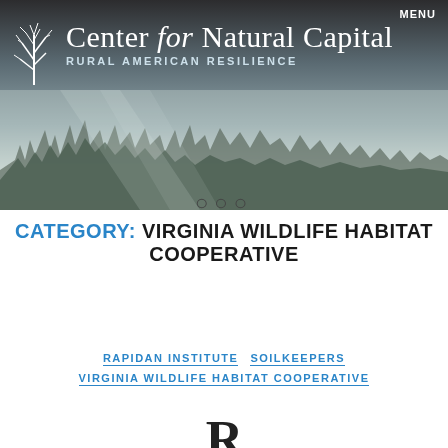[Figure (photo): Winter landscape banner with bare trees, misty sky, and gray-blue cloudy background. A stylized tree logo icon is visible on the left.]
MENU
Center for Natural Capital
RURAL AMERICAN RESILIENCE
○○○
CATEGORY: VIRGINIA WILDLIFE HABITAT COOPERATIVE
RAPIDAN INSTITUTE  SOILKEEPERS  VIRGINIA WILDLIFE HABITAT COOPERATIVE
R...